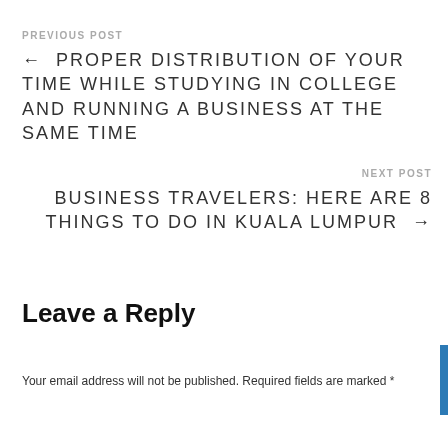PREVIOUS POST
← PROPER DISTRIBUTION OF YOUR TIME WHILE STUDYING IN COLLEGE AND RUNNING A BUSINESS AT THE SAME TIME
NEXT POST
BUSINESS TRAVELERS: HERE ARE 8 THINGS TO DO IN KUALA LUMPUR →
Leave a Reply
Your email address will not be published. Required fields are marked *